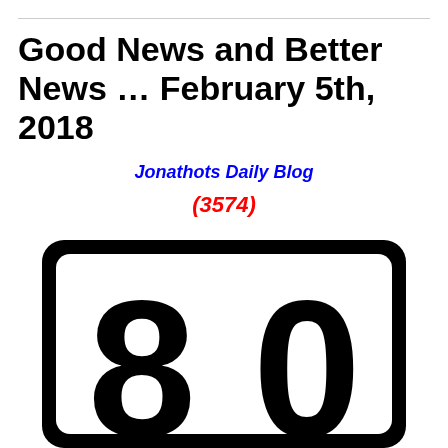Good News and Better News … February 5th, 2018
Jonathots Daily Blog
(3574)
[Figure (illustration): A speed limit sign showing the number 80, with a thick black rounded-rectangle border and white interior]